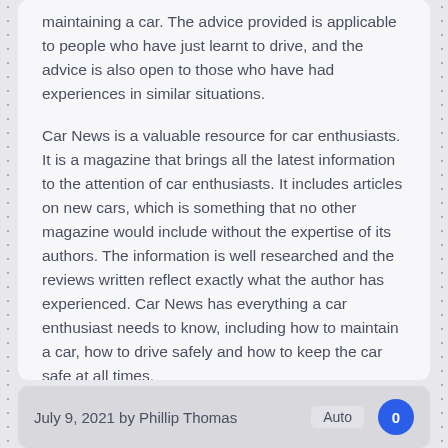maintaining a car. The advice provided is applicable to people who have just learnt to drive, and the advice is also open to those who have had experiences in similar situations.
Car News is a valuable resource for car enthusiasts. It is a magazine that brings all the latest information to the attention of car enthusiasts. It includes articles on new cars, which is something that no other magazine would include without the expertise of its authors. The information is well researched and the reviews written reflect exactly what the author has experienced. Car News has everything a car enthusiast needs to know, including how to maintain a car, how to drive safely and how to keep the car safe at all times.
July 9, 2021 by Phillip Thomas  Auto  0